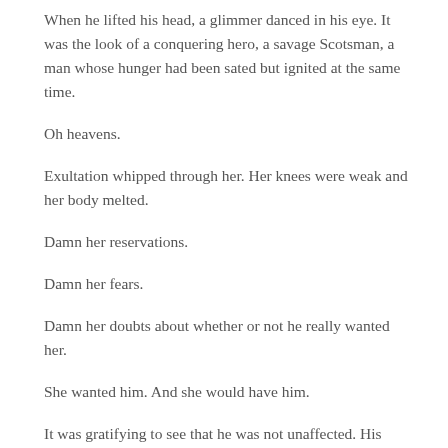When he lifted his head, a glimmer danced in his eye. It was the look of a conquering hero, a savage Scotsman, a man whose hunger had been sated but ignited at the same time.
Oh heavens.
Exultation whipped through her. Her knees were weak and her body melted.
Damn her reservations.
Damn her fears.
Damn her doubts about whether or not he really wanted her.
She wanted him. And she would have him.
It was gratifying to see that he was not unaffected. His breath came heavy and hard and there was a slight tremble in his voice when he spoke. It was one word and one word only, forced out and wreathed in a